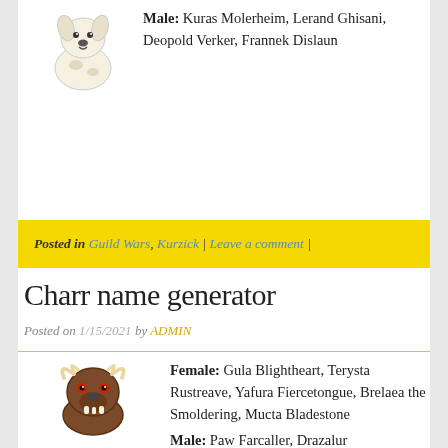[Figure (illustration): Cartoon dog illustration (white/cream dog with spots)]
Male: Kuras Molerheim, Lerand Ghisani, Deopold Verker, Frannek Dislaun
Posted in Guild Wars, Kurzick | Leave a comment |
Charr name generator
Posted on 1/15/2021 by ADMIN
[Figure (illustration): Cartoon charr creature illustration - brown beast with horns and fangs]
Female: Gula Blightheart, Terysta Rustreave, Yafura Fiercetongue, Brelaea the Smoldering, Mucta Bladestone
Male: Paw Farcaller, Drazalur